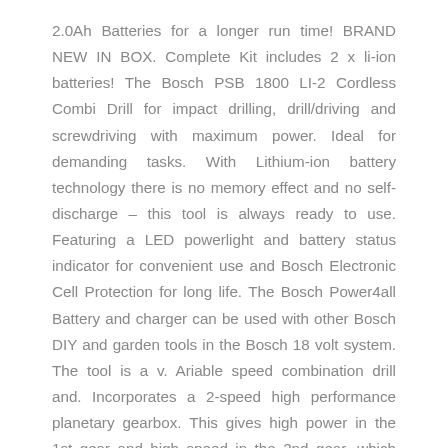2.0Ah Batteries for a longer run time! BRAND NEW IN BOX. Complete Kit includes 2 x li-ion batteries! The Bosch PSB 1800 LI-2 Cordless Combi Drill for impact drilling, drill/driving and screwdriving with maximum power. Ideal for demanding tasks. With Lithium-ion battery technology there is no memory effect and no self-discharge – this tool is always ready to use. Featuring a LED powerlight and battery status indicator for convenient use and Bosch Electronic Cell Protection for long life. The Bosch Power4all Battery and charger can be used with other Bosch DIY and garden tools in the Bosch 18 volt system. The tool is a v. Ariable speed combination drill and. Incorporates a 2-speed high performance planetary gearbox. This gives high power in the 1st gear and high speed in the 2nd gear, which ensures superior lifetime, best power transfer and high running